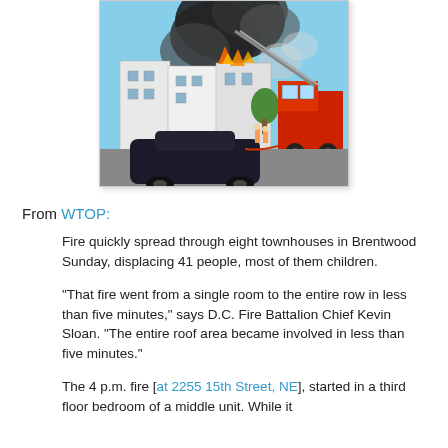[Figure (photo): Photo of a townhouse fire with large black smoke plume, fire truck with ladder extended, and a dark car in the foreground]
From WTOP:
Fire quickly spread through eight townhouses in Brentwood Sunday, displacing 41 people, most of them children.
"That fire went from a single room to the entire row in less than five minutes," says D.C. Fire Battalion Chief Kevin Sloan. "The entire roof area became involved in less than five minutes."
The 4 p.m. fire [at 2255 15th Street, NE], started in a third floor bedroom of a middle unit. While it